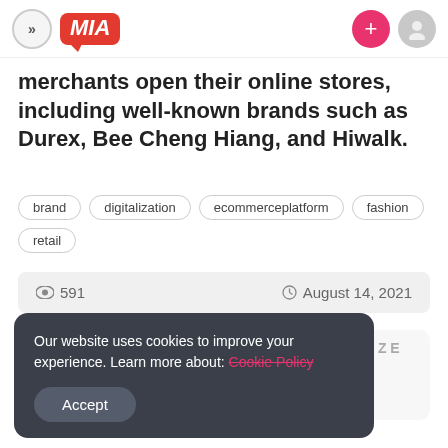MIA - navigation header with logo, plus button, and user icon
merchants open their online stores, including well-known brands such as Durex, Bee Cheng Hiang, and Hiwalk.
brand
digitalization
ecommerceplatform
fashion
retail
591  August 14, 2021
< More Than Half Of
Beli Produk G R U Z Z E Sekarang Dengan ymentnol
Our website uses cookies to improve your experience. Learn more about: Cookie Policy
Accept